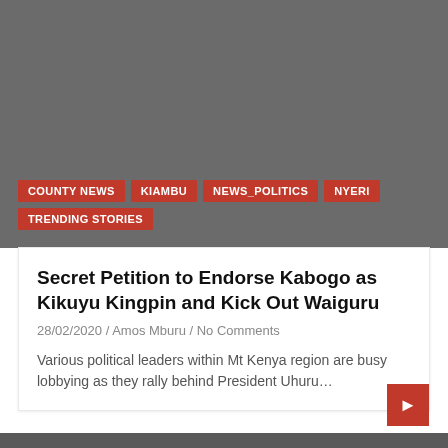[Figure (photo): Dark grey image area at top of article card, representing a news article thumbnail image]
COUNTY NEWS
KIAMBU
NEWS_POLITICS
NYERI
TRENDING STORIES
Secret Petition to Endorse Kabogo as Kikuyu Kingpin and Kick Out Waiguru
28/02/2020 / Amos Mburu / No Comments
Various political leaders within Mt Kenya region are busy lobbying as they rally behind President Uhuru…
[Figure (photo): Dark grey image area at bottom, partial view of another article thumbnail]